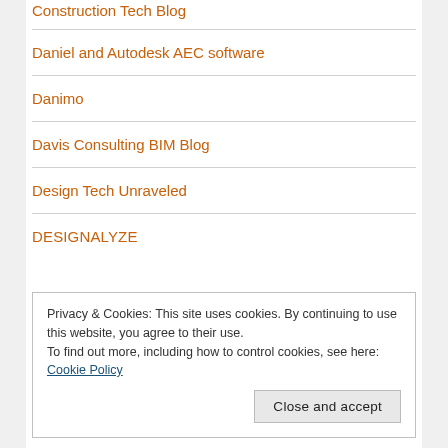Construction Tech Blog
Daniel and Autodesk AEC software
Danimo
Davis Consulting BIM Blog
Design Tech Unraveled
DESIGNALYZE
Privacy & Cookies: This site uses cookies. By continuing to use this website, you agree to their use.
To find out more, including how to control cookies, see here: Cookie Policy